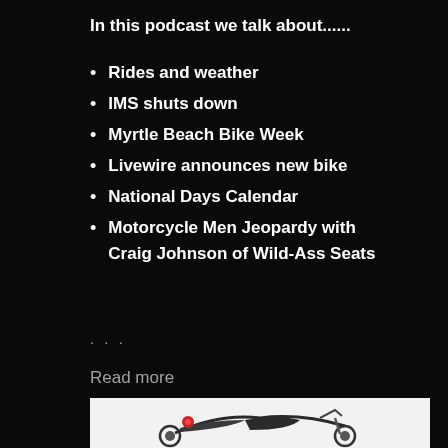In this podcast we talk about......
Rides and weather
IMS shuts down
Myrtle Beach Bike Week
Livewire announces new bike
National Days Calendar
Motorcycle Men Jeopardy with Craig Johnson of Wild-Ass Seats
...
Read more
[Figure (photo): A dark custom motorcycle photographed against a white background, showing a low-slung futuristic motorcycle design with a red taillight visible.]